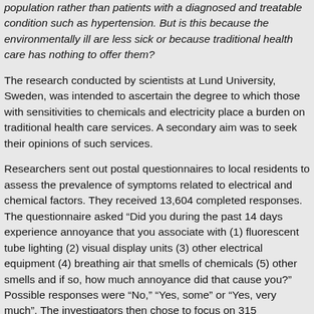population rather than patients with a diagnosed and treatable condition such as hypertension. But is this because the environmentally ill are less sick or because traditional health care has nothing to offer them?
The research conducted by scientists at Lund University, Sweden, was intended to ascertain the degree to which those with sensitivities to chemicals and electricity place a burden on traditional health care services. A secondary aim was to seek their opinions of such services.
Researchers sent out postal questionnaires to local residents to assess the prevalence of symptoms related to electrical and chemical factors. They received 13,604 completed responses. The questionnaire asked “Did you during the past 14 days experience annoyance that you associate with (1) fluorescent tube lighting (2) visual display units (3) other electrical equipment (4) breathing air that smells of chemicals (5) other smells and if so, how much annoyance did that cause you?” Possible responses were “No,” “Yes, some” or “Yes, very much”. The investigators then chose to focus on 315 individuals who reported annoyance from both any electrical factor and chemicals or smells, with at least one of the factors rated as “yes, very much” annoying.
The 315 environmentally sensitive persons were then compared with 1373 people treated with medication for high blood pressure during the past year as well as the general population in relation to their health